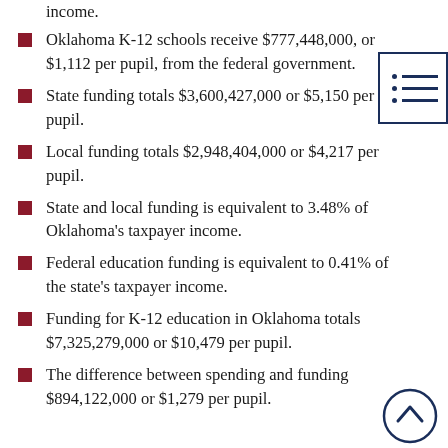income.
Oklahoma K-12 schools receive $777,448,000, or $1,112 per pupil, from the federal government.
State funding totals $3,600,427,000 or $5,150 per pupil.
Local funding totals $2,948,404,000 or $4,217 per pupil.
State and local funding is equivalent to 3.48% of Oklahoma's taxpayer income.
Federal education funding is equivalent to 0.41% of the state's taxpayer income.
Funding for K-12 education in Oklahoma totals $7,325,279,000 or $10,479 per pupil.
The difference between spending and funding $894,122,000 or $1,279 per pupil.